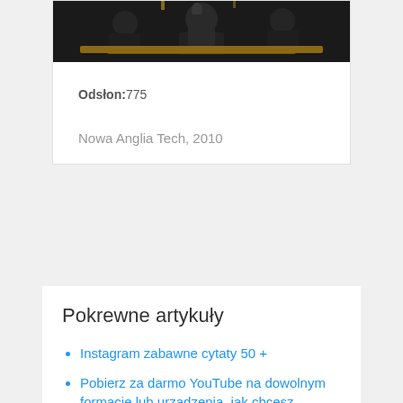[Figure (photo): Dark photo of a person at a podium or lectern, partially cropped, with a dark background]
Odsłon:775
Nowa Anglia Tech, 2010
Pokrewne artykuły
Instagram zabawne cytaty 50 +
Pobierz za darmo YouTube na dowolnym formacie lub urządzenia, jak chcesz
Świętować Dzień Ojca cytatami